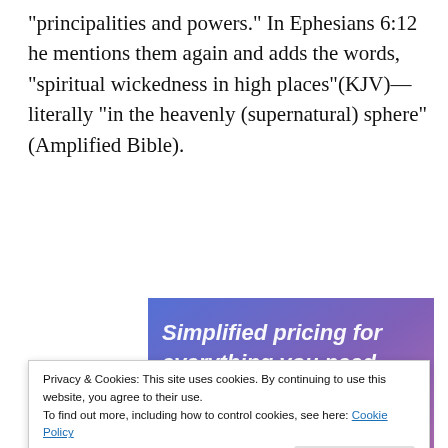“principalities and powers.” In Ephesians 6:12 he mentions them again and adds the words, “spiritual wickedness in high places”(KJV)—literally “in the heavenly (supernatural) sphere” (Amplified Bible).
[Figure (illustration): Advertisement banner with gradient blue-purple background, text 'Simplified pricing for everything you need.' and a pink 'Build Your Website' button, with a 3D price tag image on the right.]
Privacy & Cookies: This site uses cookies. By continuing to use this website, you agree to their use.
To find out more, including how to control cookies, see here: Cookie Policy
Close and accept
Perhaps by now you have noticed that I have refrained